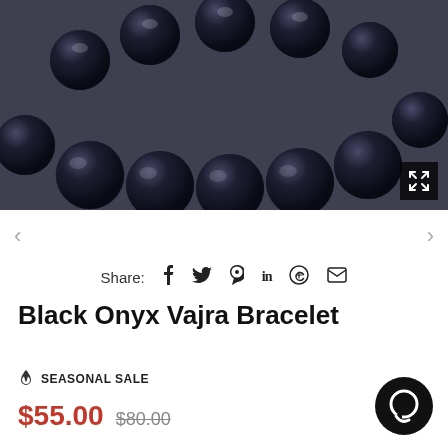[Figure (photo): Close-up photo of a black onyx bracelet with glossy dark beads arranged in a circular shape on a grey background.]
Share: f 𝕓 𝑃 in ⊕ ✉
Black Onyx Vajra Bracelet
🔥 SEASONAL SALE
$55.00  $80.00